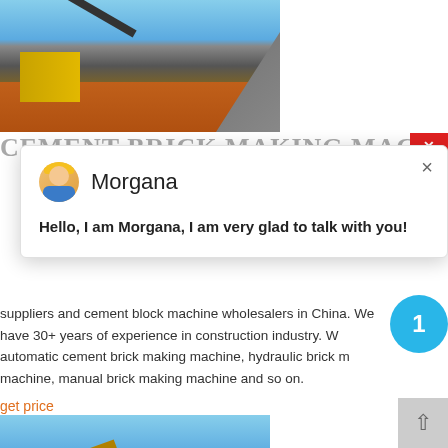[Figure (photo): Photograph of a quarry or mining site with conveyor belts, machinery, a large gravel pile, and red dirt ground under a blue sky]
CEMENT BRICK MAKING MACHINE
[Figure (screenshot): Chat popup overlay with avatar of agent named Morgana and greeting message]
suppliers and cement block machine wholesalers in China. We have 30+ years of experience in construction industry. We automatic cement brick making machine, hydraulic brick machine, manual brick making machine and so on.
get price
[Figure (photo): Photograph of a large yellow construction or brick-making machine against a blue sky]